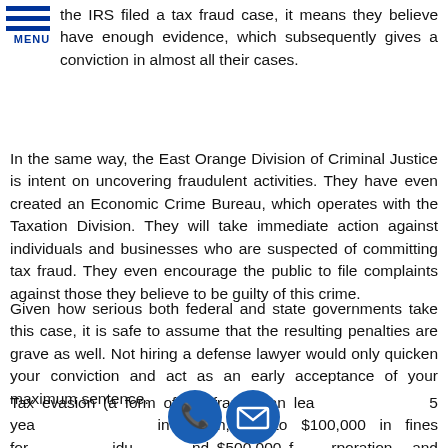[Figure (logo): Blue horizontal lines menu icon with MENU label below]
the IRS filed a tax fraud case, it means they believe have enough evidence, which subsequently gives a conviction in almost all their cases.
In the same way, the East Orange Division of Criminal Justice is intent on uncovering fraudulent activities. They have even created an Economic Crime Bureau, which operates with the Taxation Division. They will take immediate action against individuals and businesses who are suspected of committing tax fraud. They even encourage the public to file complaints against those they believe to be guilty of this crime.
Given how serious both federal and state governments take this case, it is safe to assume that the resulting penalties are grave as well. Not hiring a defense lawyer would only quicken your conviction and act as an early acceptance of your maximum sentence.
Tax evasion (a form of tax fraud) can lead to 5 years in prison, up to $100,000 in fines for individuals, and $500,000 for corporations, and payment for the amount of
[Figure (illustration): Two circular icons: blue phone icon and blue email/envelope icon overlaid on text]